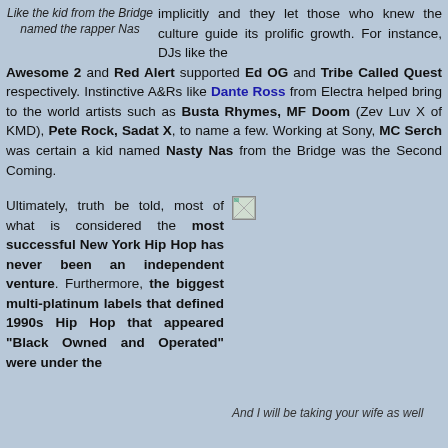Like the kid from the Bridge named the rapper Nas
implicitly and they let those who knew the culture guide its prolific growth. For instance, DJs like the Awesome 2 and Red Alert supported Ed OG and Tribe Called Quest respectively. Instinctive A&Rs like Dante Ross from Electra helped bring to the world artists such as Busta Rhymes, MF Doom (Zev Luv X of KMD), Pete Rock, Sadat X, to name a few. Working at Sony, MC Serch was certain a kid named Nasty Nas from the Bridge was the Second Coming.
Ultimately, truth be told, most of what is considered the most successful New York Hip Hop has never been an independent venture. Furthermore, the biggest multi-platinum labels that defined 1990s Hip Hop that appeared "Black Owned and Operated" were under the
[Figure (photo): Small broken image placeholder]
And I will be taking your wife as well